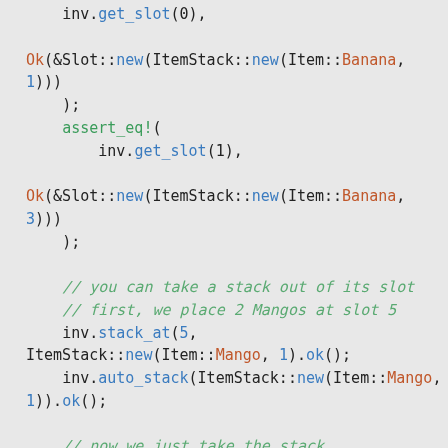inv.get_slot(0),

Ok(&Slot::new(ItemStack::new(Item::Banana, 1)))
    );
    assert_eq!(
        inv.get_slot(1),

Ok(&Slot::new(ItemStack::new(Item::Banana, 3)))
    );

    // you can take a stack out of its slot
    // first, we place 2 Mangos at slot 5
    inv.stack_at(5,
ItemStack::new(Item::Mango, 1)).ok();
    inv.auto_stack(ItemStack::new(Item::Mango,
1)).ok();

    // now we just take the stack
    assert_eq!(
        inv.take_stack(5),